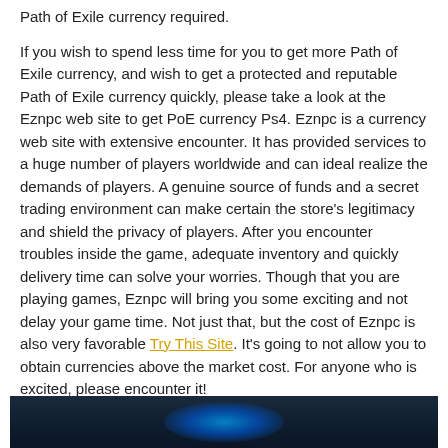Path of Exile currency required.
If you wish to spend less time for you to get more Path of Exile currency, and wish to get a protected and reputable Path of Exile currency quickly, please take a look at the Eznpc web site to get PoE currency Ps4. Eznpc is a currency web site with extensive encounter. It has provided services to a huge number of players worldwide and can ideal realize the demands of players. A genuine source of funds and a secret trading environment can make certain the store's legitimacy and shield the privacy of players. After you encounter troubles inside the game, adequate inventory and quickly delivery time can solve your worries. Though that you are playing games, Eznpc will bring you some exciting and not delay your game time. Not just that, but the cost of Eznpc is also very favorable Try This Site. It's going to not allow you to obtain currencies above the market cost. For anyone who is excited, please encounter it!
[Figure (photo): Dark blue background image with glowing blue light effect, partially visible at the bottom of the page.]